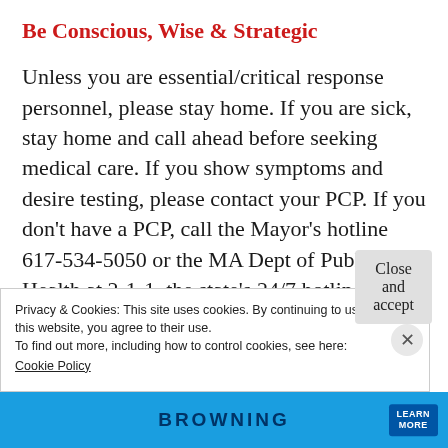Be Conscious, Wise & Strategic
Unless you are essential/critical response personnel, please stay home. If you are sick, stay home and call ahead before seeking medical care. If you show symptoms and desire testing, please contact your PCP. If you don't have a PCP, call the Mayor's hotline 617-534-5050 or the MA Dept of Public Health at 2-1-1, the state's 24/7 hotline (operators fluent in
Privacy & Cookies: This site uses cookies. By continuing to use this website, you agree to their use.
To find out more, including how to control cookies, see here:
Cookie Policy
Close and accept